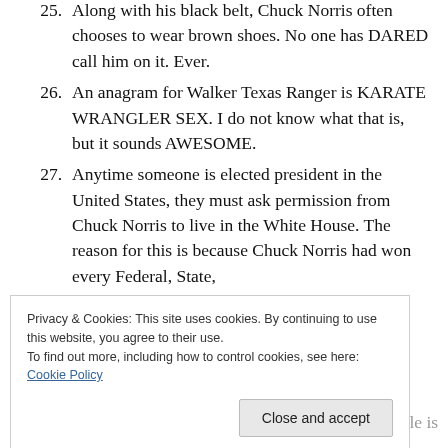25. Along with his black belt, Chuck Norris often chooses to wear brown shoes. No one has DARED call him on it. Ever.
26. An anagram for Walker Texas Ranger is KARATE WRANGLER SEX. I do not know what that is, but it sounds AWESOME.
27. Anytime someone is elected president in the United States, they must ask permission from Chuck Norris to live in the White House. The reason for this is because Chuck Norris had won every Federal, State,
Privacy & Cookies: This site uses cookies. By continuing to use this website, you agree to their use. To find out more, including how to control cookies, see here: Cookie Policy
the middle of all the others. The one in the middle is